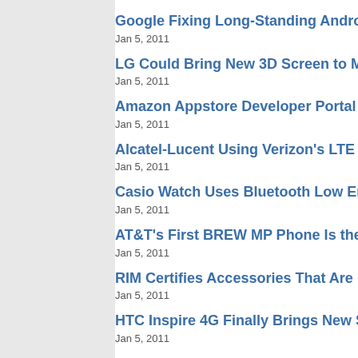Google Fixing Long-Standing Androi...
Jan 5, 2011
LG Could Bring New 3D Screen to M...
Jan 5, 2011
Amazon Appstore Developer Portal...
Jan 5, 2011
Alcatel-Lucent Using Verizon's LTE...
Jan 5, 2011
Casio Watch Uses Bluetooth Low Er...
Jan 5, 2011
AT&T's First BREW MP Phone Is the...
Jan 5, 2011
RIM Certifies Accessories That Are...
Jan 5, 2011
HTC Inspire 4G Finally Brings New S...
Jan 5, 2011
AT&T Launching Dual-Core Motorol...
Jan 5, 2011
SD Association Triples Speeds On R...